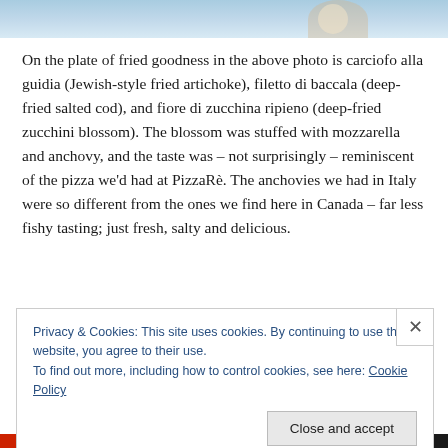[Figure (photo): Partial view of a plate of fried food on a light blue background, cropped at top of page]
On the plate of fried goodness in the above photo is carciofo alla guidia (Jewish-style fried artichoke), filetto di baccala (deep-fried salted cod), and fiore di zucchina ripieno (deep-fried zucchini blossom). The blossom was stuffed with mozzarella and anchovy, and the taste was – not surprisingly – reminiscent of the pizza we'd had at PizzaRè. The anchovies we had in Italy were so different from the ones we find here in Canada – far less fishy tasting; just fresh, salty and delicious.
Privacy & Cookies: This site uses cookies. By continuing to use this website, you agree to their use.
To find out more, including how to control cookies, see here: Cookie Policy
Close and accept